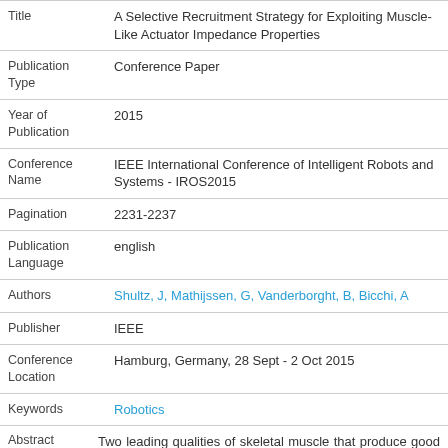| Field | Value |
| --- | --- |
| Title | A Selective Recruitment Strategy for Exploiting Muscle-Like Actuator Impedance Properties |
| Publication Type | Conference Paper |
| Year of Publication | 2015 |
| Conference Name | IEEE International Conference of Intelligent Robots and Systems - IROS2015 |
| Pagination | 2231-2237 |
| Publication Language | english |
| Authors | Shultz, J, Mathijssen, G, Vanderborght, B, Bicchi, A |
| Publisher | IEEE |
| Conference Location | Hamburg, Germany, 28 Sept - 2 Oct 2015 |
| Keywords | Robotics |
Abstract: Two leading qualities of skeletal muscle that produce good performance in uncertain environments are damage tolerance and the ability to modulate impedance. For this reason, robotics researchers are